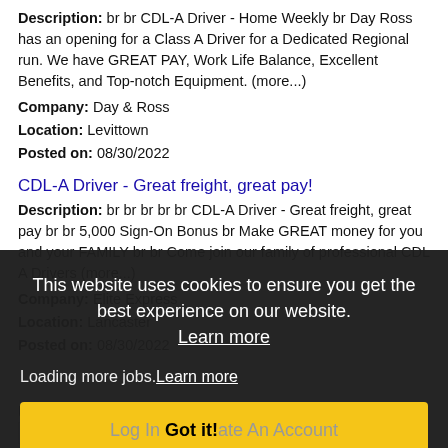Description: br br CDL-A Driver - Home Weekly br Day Ross has an opening for a Class A Driver for a Dedicated Regional run. We have GREAT PAY, Work Life Balance, Excellent Benefits, and Top-notch Equipment. (more...)
Company: Day & Ross
Location: Levittown
Posted on: 08/30/2022
CDL-A Driver - Great freight, great pay!
Description: br br br br br CDL-A Driver - Great freight, great pay br br 5,000 Sign-On Bonus br Make GREAT money for you and your FAMILY br br Come join our family of professional CDL A Drivers (more...)
Company: Elite Express
Location: Lancaster
Posted on: 08/30/2022
This website uses cookies to ensure you get the best experience on our website. Learn more
Loading more jobs. Learn more
Log In Got it! ate An Account
Username: